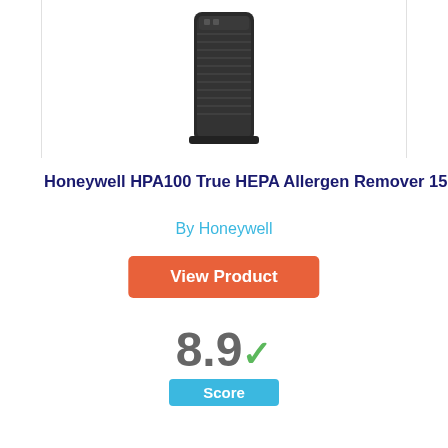[Figure (photo): Honeywell HPA100 air purifier product image, black tower unit, partially cut off at top]
Honeywell HPA100 True HEPA Allergen Remover 155 sq. ft
By Honeywell
View Product
8.9 ✓ Score
[Figure (infographic): Blue circle with number 4 inside, representing product rank]